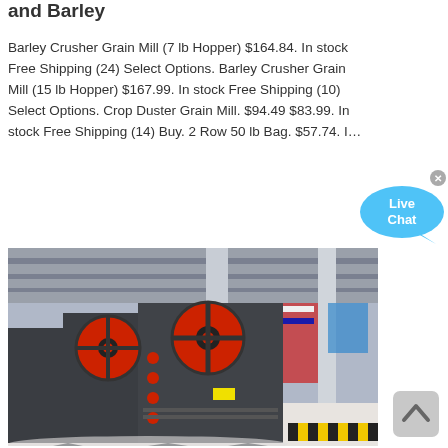and Barley
Barley Crusher Grain Mill (7 lb Hopper) $164.84. In stock Free Shipping (24) Select Options. Barley Crusher Grain Mill (15 lb Hopper) $167.99. In stock Free Shipping (10) Select Options. Crop Duster Grain Mill. $94.49 $83.99. In stock Free Shipping (14) Buy. 2 Row 50 lb Bag. $57.74. I…
[Figure (screenshot): Live Chat bubble widget in blue with close X button]
[Figure (photo): Industrial jaw crusher machines with red circular flywheels displayed at an exhibition hall with international flags in the background]
[Figure (other): Scroll to top button (grey rounded square with upward chevron)]